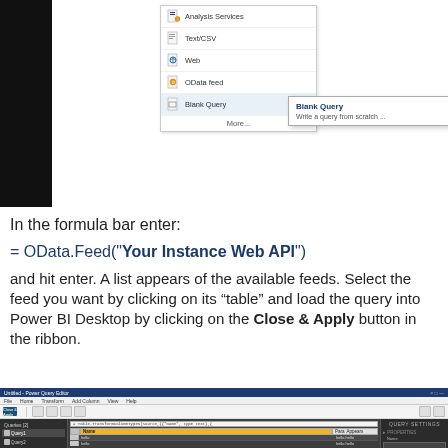[Figure (screenshot): Screenshot of Power BI / Excel Get Data menu showing options: Analysis Services, Text/CSV, Web, OData feed, Blank Query, More... with a tooltip popup showing 'Blank Query - Write a query from scratch...']
In the formula bar enter:
= OData.Feed("Your Instance Web API")
and hit enter. A list appears of the available feeds. Select the feed you want by clicking on its “table” and load the query into Power BI Desktop by clicking on the Close & Apply button in the ribbon.
[Figure (screenshot): Screenshot of Power BI Desktop - Untitled Power Query Editor window showing ribbon with Home tab, a query panel on the left with two items, main data table with Name and columns header row highlighted in gold/yellow, and Query Settings panel on the right.]